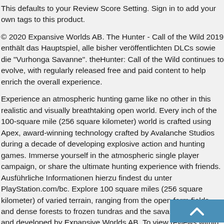This defaults to your Review Score Setting. Sign in to add your own tags to this product.
© 2020 Expansive Worlds AB. The Hunter - Call of the Wild 2019 enthält das Hauptspiel, alle bisher veröffentlichten DLCs sowie die "Vurhonga Savanne". theHunter: Call of the Wild continues to evolve, with regularly released free and paid content to help enrich the overall experience.
Experience an atmospheric hunting game like no other in this realistic and visually breathtaking open world. Every inch of the 100-square mile (256 square kilometer) world is crafted using Apex, award-winning technology crafted by Avalanche Studios during a decade of developing explosive action and hunting games. Immerse yourself in the atmospheric single player campaign, or share the ultimate hunting experience with friends. Ausführliche Informationen hierzu findest du unter PlayStation.com/bc. Explore 100 square miles (256 square kilometer) of varied terrain, ranging from the open farm fields and dense forests to frozen tundras and the savanna. Published and developed by Expansive Worlds AB. To view reviews within a date range, please click and drag a selection on a graph above or click on a specific bar. theHunter™: Call of the Wild 2019 Edition...
[Figure (other): Blue scroll-to-top button with upward chevron arrow]